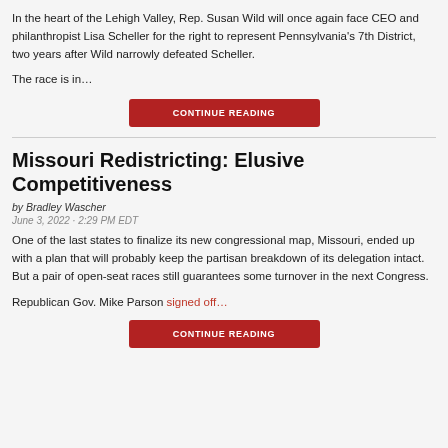In the heart of the Lehigh Valley, Rep. Susan Wild will once again face CEO and philanthropist Lisa Scheller for the right to represent Pennsylvania's 7th District, two years after Wild narrowly defeated Scheller.
The race is in…
CONTINUE READING
Missouri Redistricting: Elusive Competitiveness
by Bradley Wascher
June 3, 2022 · 2:29 PM EDT
One of the last states to finalize its new congressional map, Missouri, ended up with a plan that will probably keep the partisan breakdown of its delegation intact. But a pair of open-seat races still guarantees some turnover in the next Congress.
Republican Gov. Mike Parson signed off…
CONTINUE READING